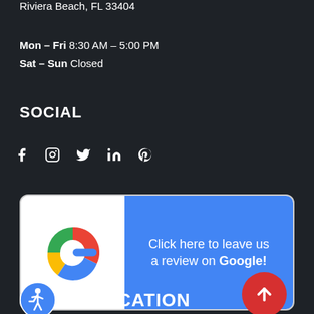Riviera Beach, FL 33404
Mon – Fri 8:30 AM – 5:00 PM
Sat – Sun Closed
SOCIAL
[Figure (infographic): Social media icons: Facebook, Instagram, Twitter/X, LinkedIn, Pinterest]
[Figure (infographic): Google review button banner with Google G logo on white background and blue panel with text: Click here to leave us a review on Google!]
[Figure (infographic): Accessibility icon in blue circle and text OUR LOCATION]
OUR LOCATION